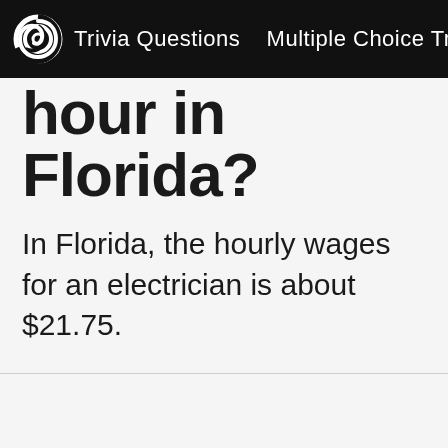Trivia Questions  Multiple Choice Trivia  555
hour in Florida?
In Florida, the hourly wages for an electrician is about $21.75.